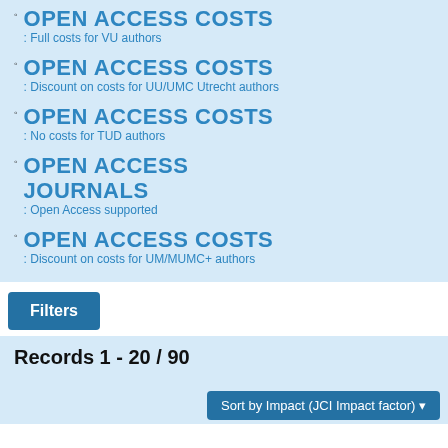OPEN ACCESS COSTS: Full costs for VU authors
OPEN ACCESS COSTS: Discount on costs for UU/UMC Utrecht authors
OPEN ACCESS COSTS: No costs for TUD authors
OPEN ACCESS JOURNALS: Open Access supported
OPEN ACCESS COSTS: Discount on costs for UM/MUMC+ authors
Filters
Records 1 - 20 / 90
Sort by Impact (JCI Impact factor)